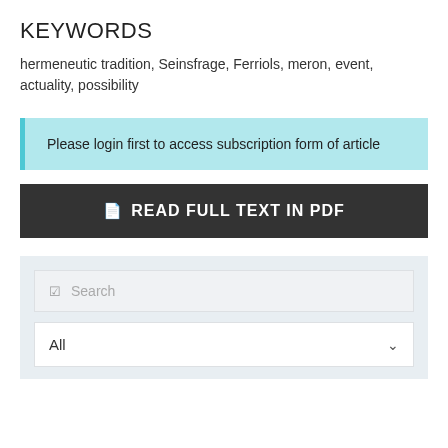KEYWORDS
hermeneutic tradition, Seinsfrage, Ferriols, meron, event, actuality, possibility
Please login first to access subscription form of article
READ FULL TEXT IN PDF
Search
All